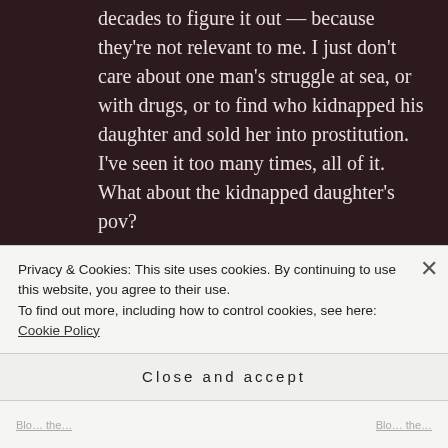decades to figure it out — because they're not relevant to me. I just don't care about one man's struggle at sea, or with drugs, or to find who kidnapped his daughter and sold her into prostitution. I've seen it too many times, all of it. What about the kidnapped daughter's pov?
★ Liked by 1 person
WILSON
Privacy & Cookies: This site uses cookies. By continuing to use this website, you agree to their use.
To find out more, including how to control cookies, see here: Cookie Policy
Close and accept